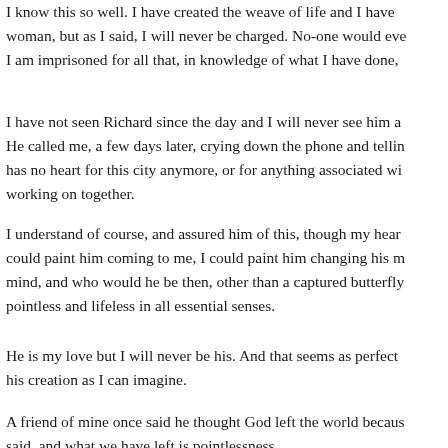I know this so well. I have created the weave of life and I have woman, but as I said, I will never be charged. No-one would eve I am imprisoned for all that, in knowledge of what I have done,
I have not seen Richard since the day and I will never see him a He called me, a few days later, crying down the phone and tellin has no heart for this city anymore, or for anything associated wi working on together.
I understand of course, and assured him of this, though my hear could paint him coming to me, I could paint him changing his m mind, and who would he be then, other than a captured butterfly pointless and lifeless in all essential senses.
He is my love but I will never be his. And that seems as perfect his creation as I can imagine.
A friend of mine once said he thought God left the world becaus said, and what we have left is pointlessness.